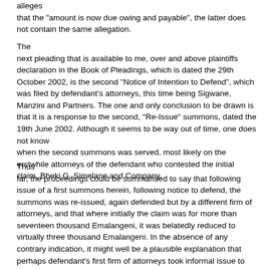alleges that the "amount is now due owing and payable", the latter does not contain the same allegation.
The next pleading that is available to me, over and above plaintiffs declaration in the Book of Pleadings, which is dated the 29th October 2002, is the second "Notice of Intention to Defend", which was filed by defendant's attorneys, this time being Sigwane, Manzini and Partners. The one and only conclusion to be drawn is that it is a response to the second, "Re-Issue" summons, dated the 19th June 2002. Although it seems to be way out of time, one does not know when the second summons was served, most likely on the erstwhile attorneys of the defendant who contested the initial claim, Bheki G. Simelane and Company.
Thus far, the proceedings could be summarised to say that following issue of a first summons herein, following notice to defend, the summons was re-issued, again defended but by a different firm of attorneys, and that where initially the claim was for more than seventeen thousand Emalangeni, it was belatedly reduced to virtually three thousand Emalangeni. In the absence of any contrary indication, it might well be a plausible explanation that perhaps defendant's first firm of attorneys took informal issue to the amount of the claim which resulted in a fresh claim of almost a sixth of the original amount, which was then defended by the second firm of attorneys. The other shortcomings in the summons remained as it was at first.